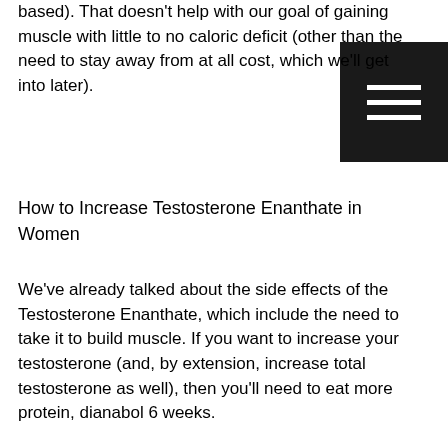based). That doesn't help with our goal of gaining muscle with little to no caloric deficit (other than the need to stay away from at all cost, which we'll get into later).
How to Increase Testosterone Enanthate in Women
We've already talked about the side effects of the Testosterone Enanthate, which include the need to take it to build muscle. If you want to increase your testosterone (and, by extension, increase total testosterone as well), then you'll need to eat more protein, dianabol 6 weeks.
A study was recently published that measured the effect of increasing estrogen levels in muscle by consuming estrogenic fatty acids. They found that increases by up to 15% in the amount of total testosterone and DHT, as well as a 7% increase in total